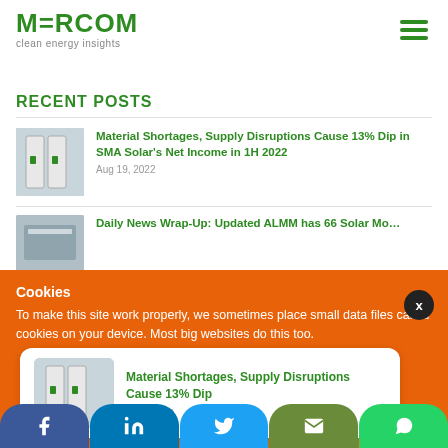MERCOM clean energy insights
RECENT POSTS
Material Shortages, Supply Disruptions Cause 13% Dip in SMA Solar's Net Income in 1H 2022 — Aug 19, 2022
Daily News Wrap-Up: Updated ALMM has 66 Solar Module...
Cookies
To make this site work properly, we sometimes place small data files called cookies on your device. Most big websites do this too.
[Figure (screenshot): Notification card: Material Shortages, Supply Disruptions Cause 13% Dip — 1 hour ago]
Facebook | LinkedIn | Twitter | Email | WhatsApp social share buttons